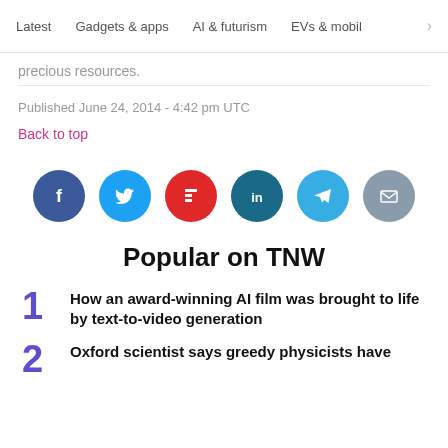Latest   Gadgets & apps   AI & futurism   EVs & mobil  >
precious resources.
Published June 24, 2014 - 4:42 pm UTC
Back to top
[Figure (infographic): Social share buttons: Facebook (dark blue), Twitter (light blue), Flipboard (red), LinkedIn (dark teal), Telegram (light blue), Email (gray)]
Popular on TNW
How an award-winning AI film was brought to life by text-to-video generation
Oxford scientist says greedy physicists have